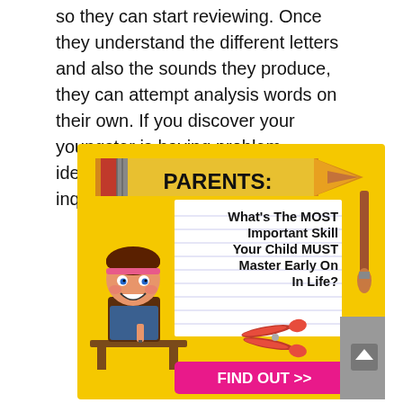so they can start reviewing. Once they understand the different letters and also the sounds they produce, they can attempt analysis words on their own. If you discover your youngster is having problem identifying a word, attempt asking 2 inquiries.
[Figure (illustration): Educational advertisement banner with yellow background featuring a cartoon girl at a desk, a pencil graphic with 'PARENTS:' text, a notebook with text 'What's The MOST Important Skill Your Child MUST Master Early On In Life?', scissors, a paintbrush, and a pink 'FIND OUT >>' button.]